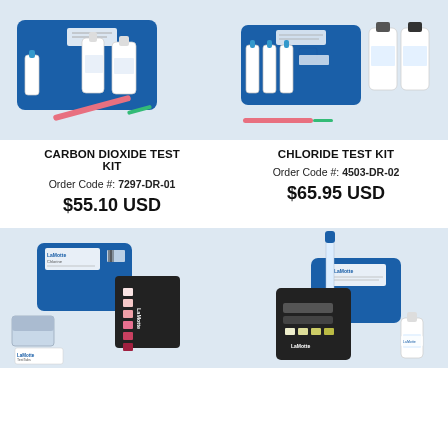[Figure (photo): Carbon Dioxide Test Kit product photo showing blue case, bottles, syringes on white/light blue background]
CARBON DIOXIDE TEST KIT
Order Code #: 7297-DR-01
$55.10 USD
[Figure (photo): Chloride Test Kit product photo showing blue case, dropper bottles, reagent bottles on white/light blue background]
CHLORIDE TEST KIT
Order Code #: 4503-DR-02
$65.95 USD
[Figure (photo): LaMotte test kit product photo showing blue case, color comparator card strip, and reagent packets on light blue background]
[Figure (photo): LaMotte test kit product photo showing blue case, digital reader/comparator device on light blue background]